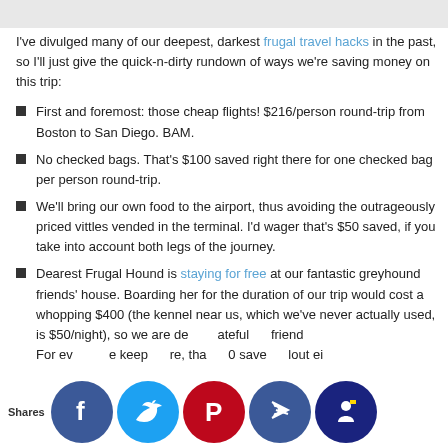I've divulged many of our deepest, darkest frugal travel hacks in the past, so I'll just give the quick-n-dirty rundown of ways we're saving money on this trip:
First and foremost: those cheap flights! $216/person round-trip from Boston to San Diego. BAM.
No checked bags. That's $100 saved right there for one checked bag per person round-trip.
We'll bring our own food to the airport, thus avoiding the outrageously priced vittles vended in the terminal. I'd wager that's $50 saved, if you take into account both legs of the journey.
Dearest Frugal Hound is staying for free at our fantastic greyhound friends' house. Boarding her for the duration of our trip would cost a whopping $400 (the kennel near us, which we've never actually used, is $50/night), so we are de...ateful...friend... For ev...e keep...re, tha...0 save...lout ei...